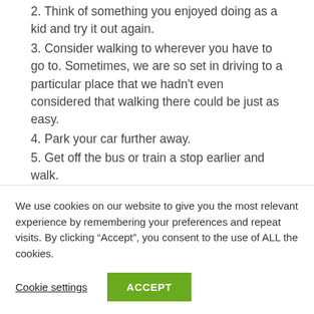2. Think of something you enjoyed doing as a kid and try it out again.
3. Consider walking to wherever you have to go to. Sometimes, we are so set in driving to a particular place that we hadn't even considered that walking there could be just as easy.
4. Park your car further away.
5. Get off the bus or train a stop earlier and walk.
6. Take the stairs instead of the lift or escalator.
7. Dance!
We use cookies on our website to give you the most relevant experience by remembering your preferences and repeat visits. By clicking “Accept”, you consent to the use of ALL the cookies.
Cookie settings
ACCEPT